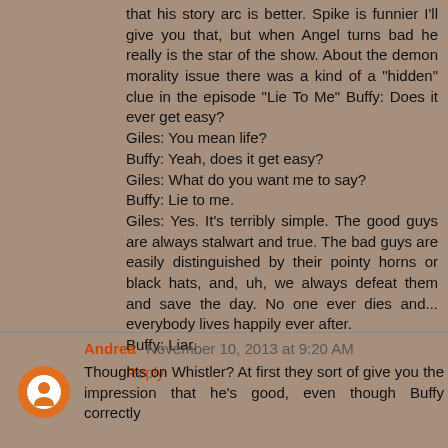that his story arc is better. Spike is funnier I'll give you that, but when Angel turns bad he really is the star of the show. About the demon morality issue there was a kind of a "hidden" clue in the episode "Lie To Me" Buffy: Does it ever get easy?
Giles: You mean life?
Buffy: Yeah, does it get easy?
Giles: What do you want me to say?
Buffy: Lie to me.
Giles: Yes. It's terribly simple. The good guys are always stalwart and true. The bad guys are easily distinguished by their pointy horns or black hats, and, uh, we always defeat them and save the day. No one ever dies and... everybody lives happily ever after.
Buffy: Liar.
Reply
Andrea November 10, 2013 at 9:20 AM
Thoughts on Whistler? At first they sort of give you the impression that he's good, even though Buffy correctly